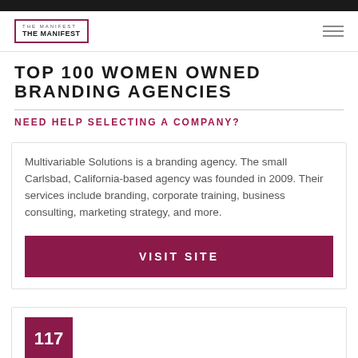THE MANIFEST
TOP 100 WOMEN OWNED BRANDING AGENCIES
NEED HELP SELECTING A COMPANY?
Multivariable Solutions is a branding agency. The small Carlsbad, California-based agency was founded in 2009. Their services include branding, corporate training, business consulting, marketing strategy, and more.
VISIT SITE
117